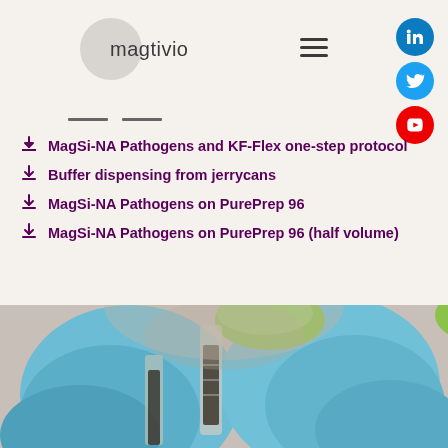magtivio
MagSi-NA Pathogens and KF-Flex one-step protocol
Buffer dispensing from jerrycans
MagSi-NA Pathogens on PurePrep 96
MagSi-NA Pathogens on PurePrep 96 (half volume)
[Figure (photo): Gloved hands in blue nitrile gloves holding laboratory flasks/vials with dark liquid, green-capped containers visible, blurred person in background]